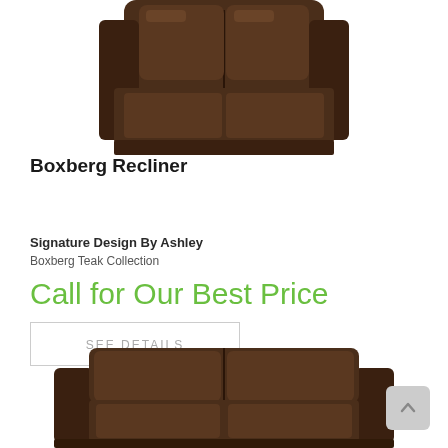[Figure (photo): Top portion of a dark brown leather recliner chair viewed from above/front, cropped at top of page]
Boxberg Recliner
Signature Design By Ashley
Boxberg Teak Collection
Call for Our Best Price
SEE DETAILS
[Figure (photo): Bottom portion of a dark brown leather loveseat/sofa, cropped at bottom of page]